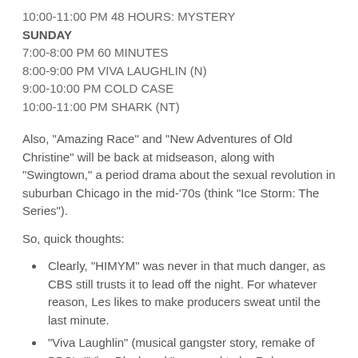10:00-11:00 PM 48 HOURS: MYSTERY
SUNDAY
7:00-8:00 PM 60 MINUTES
8:00-9:00 PM VIVA LAUGHLIN (N)
9:00-10:00 PM COLD CASE
10:00-11:00 PM SHARK (NT)
Also, "Amazing Race" and "New Adventures of Old Christine" will be back at midseason, along with "Swingtown," a period drama about the sexual revolution in suburban Chicago in the mid-'70s (think "Ice Storm: The Series").
So, quick thoughts:
Clearly, "HIMYM" was never in that much danger, as CBS still trusts it to lead off the night. For whatever reason, Les likes to make producers sweat until the last minute.
"Viva Laughlin" (musical gangster story, remake of BBC's "Viva Blackpool," rumored to be Rob